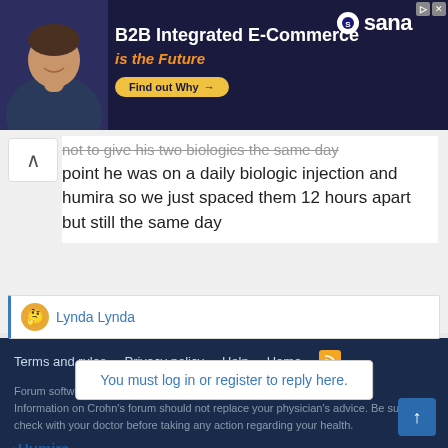[Figure (other): B2B Integrated E-Commerce advertisement banner with man photo, Sana logo, and 'Find out Why' button]
not to give his two biologics the same day point he was on a daily biologic injection and humira so we just spaced them 12 hours apart but still the same day
Lynda Lynda
You must log in or register to reply here.
< Humira
Terms and rules  Privacy policy  Help  Home
Forum software by XenForo® © 2010-2020 XenForo Ltd.
Information on Crohn's forum should not replace your physician's advice. Be sure to check with your doctor before taking any action regarding your health.